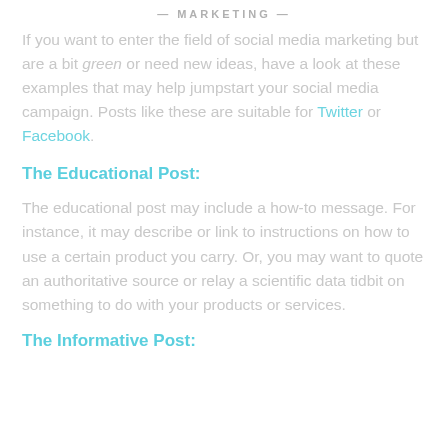— MARKETING —
If you want to enter the field of social media marketing but are a bit green or need new ideas, have a look at these examples that may help jumpstart your social media campaign. Posts like these are suitable for Twitter or Facebook.
The Educational Post:
The educational post may include a how-to message. For instance, it may describe or link to instructions on how to use a certain product you carry. Or, you may want to quote an authoritative source or relay a scientific data tidbit on something to do with your products or services.
The Informative Post: